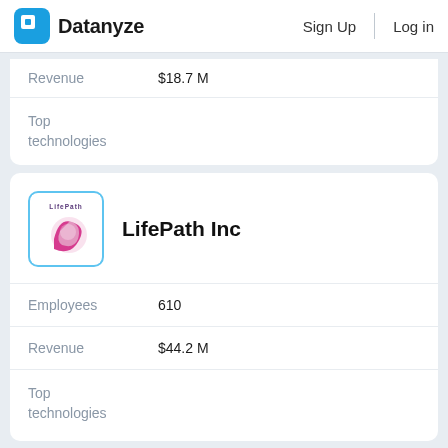Datanyze  Sign Up  Log in
| Field | Value |
| --- | --- |
| Revenue | $18.7 M |
| Top technologies |  |
[Figure (logo): LifePath Inc company logo — pink swirl on white background with light blue border]
LifePath Inc
| Field | Value |
| --- | --- |
| Employees | 610 |
| Revenue | $44.2 M |
| Top technologies |  |